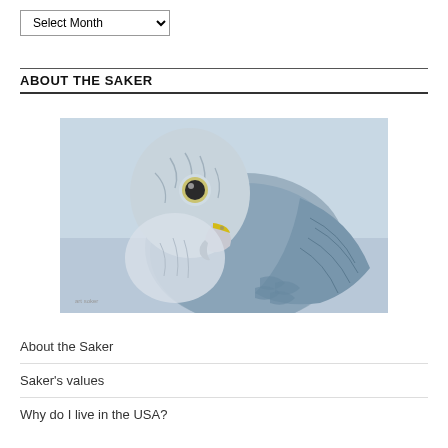Select Month
ABOUT THE SAKER
[Figure (illustration): Painting/illustration of a Saker falcon close-up portrait, showing the bird's head and upper body with blue-grey feathers, yellow eye ring and cere, dark hooked beak, on a light blue-grey background.]
About the Saker
Saker's values
Why do I live in the USA?